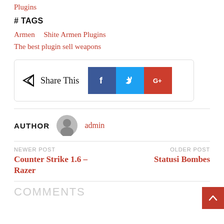Plugins
# TAGS
Armen   Shite Armen Plugins
The best plugin sell weapons
[Figure (infographic): Share This box with Facebook, Twitter, and Google+ social buttons]
AUTHOR  admin
NEWER POST
Counter Strike 1.6 – Razer
OLDER POST
Statusi Bombes
COMMENTS